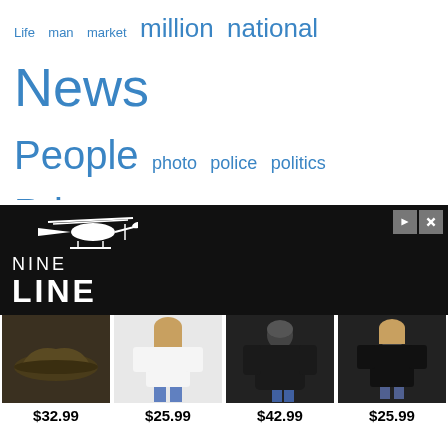[Figure (infographic): Word cloud with terms: Life, man, market, million, national, News (largest), People, photo, police, politics, Price, Prices, real, Russia, Russian, Series, Sports, team, time, today, Ukraine, vaccine, video, War, world, year, years — all in blue, varying font sizes]
[Figure (infographic): Advertisement for Nine Line brand: black banner with helicopter logo and product images showing a hat ($32.99), white t-shirt ($25.99), black hoodie ($42.99), black t-shirt ($25.99)]